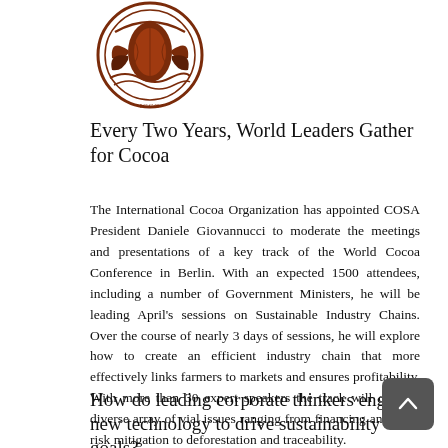[Figure (logo): International Cocoa Organization logo — brown circular emblem with cocoa pods]
Every Two Years, World Leaders Gather for Cocoa
The International Cocoa Organization has appointed COSA President Daniele Giovannucci to moderate the meetings and presentations of a key track of the World Cocoa Conference in Berlin. With an expected 1500 attendees, including a number of Government Ministers, he will be leading April's sessions on Sustainable Industry Chains. Over the course of nearly 3 days of sessions, he will explore how to create an efficient industry chain that more effectively links farmers to markets and ensures profitability. With more than 30 expert speakers the track will cover a diverse array of vial issues ranging from financing and price risk mitigation to deforestation and traceability.
How do leading corporate thinkers engage new technology to drive sustainability goals?